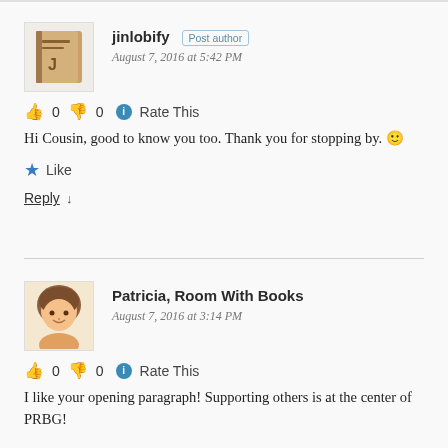jinlobify  Post author
August 7, 2016 at 5:42 PM
👍 0 👎 0 ℹ Rate This
Hi Cousin, good to know you too. Thank you for stopping by. 🙂
★ Like
Reply ↓
Patricia, Room With Books
August 7, 2016 at 3:14 PM
👍 0 👎 0 ℹ Rate This
I like your opening paragraph! Supporting others is at the center of PRBG!